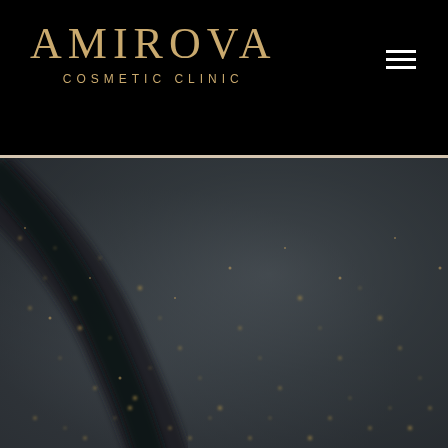AMIROVA COSMETIC CLINIC
[Figure (photo): Close-up blurred dark background with gold speckled texture, resembling a dark stone or cosmetic product surface with golden flecks and a curved dark line or shadow]